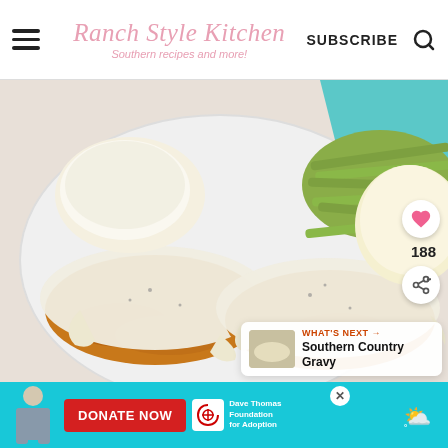Ranch Style Kitchen — Southern recipes and more! | SUBSCRIBE
[Figure (photo): Plate of country fried steak covered in white cream gravy, served with green beans and mashed potatoes on a white plate]
188
WHAT'S NEXT → Southern Country Gravy
DONATE NOW — Dave Thomas Foundation for Adoption